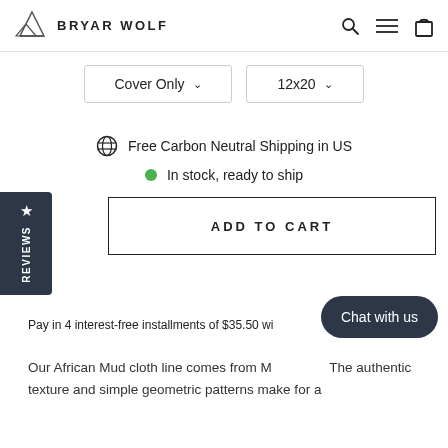[Figure (logo): Bryar Wolf mountain logo with text BRYAR WOLF]
[Figure (infographic): Navigation icons: search, hamburger menu, cart bag]
Cover Only ∨   12x20 ∨
Free Carbon Neutral Shipping in US
In stock, ready to ship
ADD TO CART
REVIEWS
Pay in 4 interest-free installments of $35.50 wi… more
Our African Mud cloth line comes from Mali... The authentic texture and simple geometric patterns make for a